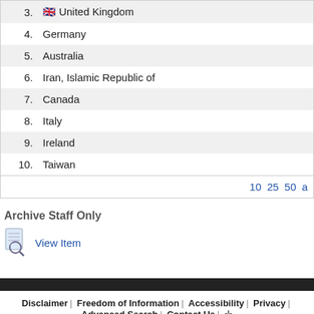3. United Kingdom
4. Germany
5. Australia
6. Iran, Islamic Republic of
7. Canada
8. Italy
9. Ireland
10. Taiwan
10 25 50 a
Archive Staff Only
View Item
Disclaimer | Freedom of Information | Accessibility | Privacy | Advanced Search | Contact Us | + University College London, Gower Street, London, WC1E 6BT Tel: +44 (0)